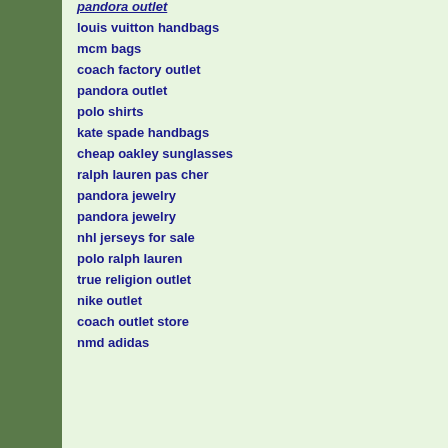pandora outlet (partial/cut off at top)
louis vuitton handbags
mcm bags
coach factory outlet
pandora outlet
polo shirts
kate spade handbags
cheap oakley sunglasses
ralph lauren pas cher
pandora jewelry
pandora jewelry
nhl jerseys for sale
polo ralph lauren
true religion outlet
nike outlet
coach outlet store
nmd adidas